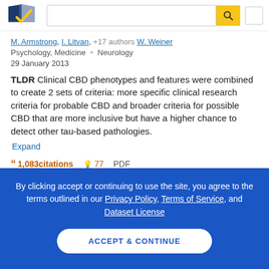[Figure (logo): Semantic Scholar logo - stylized book/checkmark in navy and gold]
M. Armstrong, I. Litvan, +17 authors  W. Weiner
Psychology, Medicine  •  Neurology
29 January 2013
TLDR  Clinical CBD phenotypes and features were combined to create 2 sets of criteria: more specific clinical research criteria for probable CBD and broader criteria for possible CBD that are more inclusive but have a higher chance to detect other tau-based pathologies.
Expand
1,083 citations  77  PDF
By clicking accept or continuing to use the site, you agree to the terms outlined in our Privacy Policy, Terms of Service, and Dataset License
ACCEPT & CONTINUE